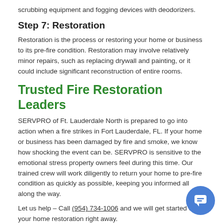scrubbing equipment and fogging devices with deodorizers.
Step 7: Restoration
Restoration is the process or restoring your home or business to its pre-fire condition. Restoration may involve relatively minor repairs, such as replacing drywall and painting, or it could include significant reconstruction of entire rooms.
Trusted Fire Restoration Leaders
SERVPRO of Ft. Lauderdale North is prepared to go into action when a fire strikes in Fort Lauderdale, FL. If your home or business has been damaged by fire and smoke, we know how shocking the event can be. SERVPRO is sensitive to the emotional stress property owners feel during this time. Our trained crew will work diligently to return your home to pre-fire condition as quickly as possible, keeping you informed all along the way.
Let us help – Call (954) 734-1006 and we will get started on your home restoration right away.